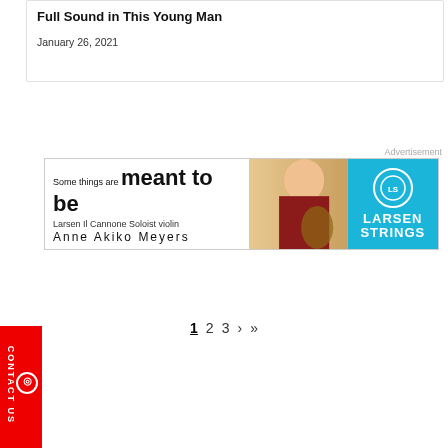Full Sound in This Young Man
January 26, 2021
Advertisement
[Figure (illustration): Larsen Strings advertisement banner: 'Some things are meant to be — Larsen Il Cannone Soloist violin — Anne Akiko Meyers' with woman holding violin and Larsen Strings logo on blue background]
1 2 3 > >>